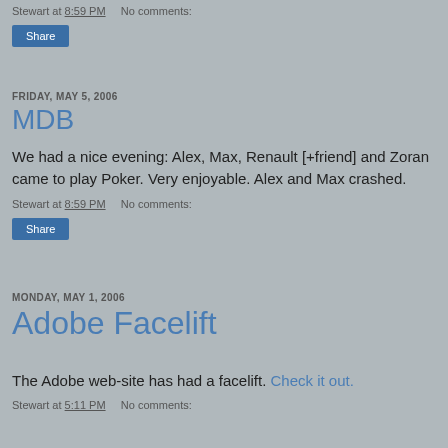Stewart at 8:59 PM    No comments:
Share
FRIDAY, MAY 5, 2006
MDB
We had a nice evening: Alex, Max, Renault [+friend] and Zoran came to play Poker. Very enjoyable. Alex and Max crashed.
Stewart at 8:59 PM    No comments:
Share
MONDAY, MAY 1, 2006
Adobe Facelift
The Adobe web-site has had a facelift. Check it out.
Stewart at 5:11 PM    No comments: